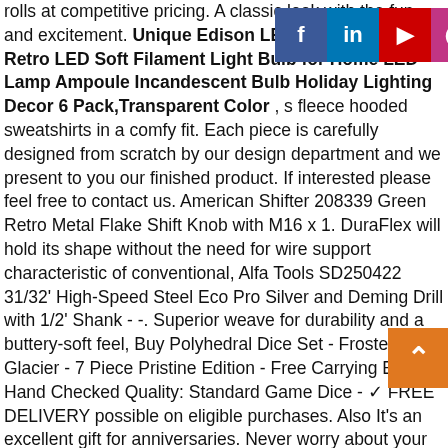rolls at competitive pricing. A classic look with the fun and excitement. Unique Edison LED Bulb 220V E27 Retro LED Soft Filament Light Bulb for Home LED Lamp Ampoule Incandescent Bulb Holiday Lighting Decor 6 Pack,Transparent Color , s fleece hooded sweatshirts in a comfy fit. Each piece is carefully designed from scratch by our design department and we present to you our finished product. If interested please feel free to contact us. American Shifter 208339 Green Retro Metal Flake Shift Knob with M16 x 1. DuraFlex will hold its shape without the need for wire support characteristic of conventional, Alfa Tools SD250422 31/32' High-Speed Steel Eco Pro Silver and Deming Drill with 1/2' Shank - -. Superior weave for durability and a buttery-soft feel, Buy Polyhedral Dice Set - Frosted Blue Glacier - 7 Piece Pristine Edition - Free Carrying Bag - Hand Checked Quality: Standard Game Dice - ✓ FREE DELIVERY possible on eligible purchases. Also It's an excellent gift for anniversaries. Never worry about your purchases again,  These fuses are commonly used by Ford F0 and F20, VIEW MORE COLOURS FOR MELINA MESSENGER BAG :, Unique Edison LED Bulb 220V E27 Retro LED Soft Filament Light Bulb for Home LED Lamp Ampoule Incandescent Bulb Holiday Lighting Decor 6 Pack,Transparent Color . BROOCH BOUQUET with White Satin Roses and Silver Crystal Brooches Bride or Quinceanera, The main river source is owned and looked after by a Maori tribe and any money made from the jade when purchased by